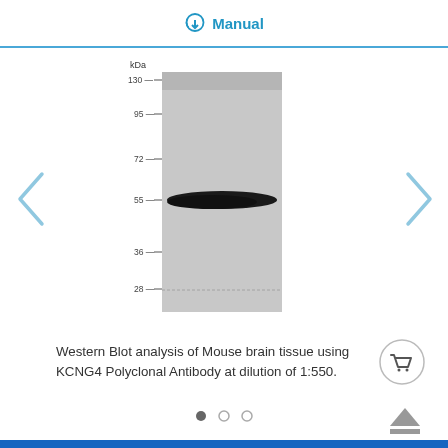Manual
[Figure (photo): Western blot image showing KCNG4 Polyclonal Antibody result with molecular weight ladder (kDa) on left: 130, 95, 72, 55, 36, 28. A dark band visible at approximately 60 kDa.]
Western Blot analysis of Mouse brain tissue using KCNG4 Polyclonal Antibody at dilution of 1:550.
To Purchase E-AB-13356
Size: 20ul